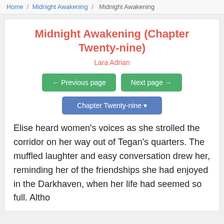Home / Midnight Awakening / Midnight Awakening
Midnight Awakening (Chapter Twenty-nine)
Lara Adrian
← Previous page   Next page →
Chapter Twenty-nine ▾
Elise heard women's voices as she strolled the corridor on her way out of Tegan's quarters. The muffled laughter and easy conversation drew her, reminding her of the friendships she had enjoyed in the Darkhaven, when her life had seemed so full. Altho...